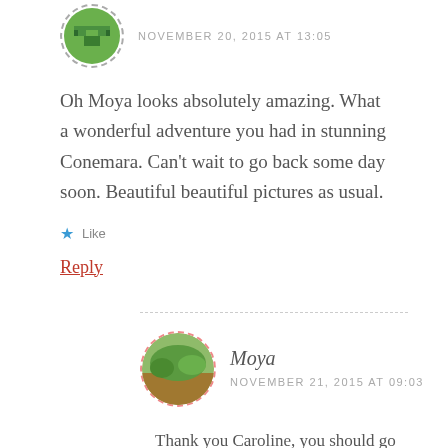[Figure (photo): Circular avatar with a green pixel-art style icon, with dashed border]
NOVEMBER 20, 2015 AT 13:05
Oh Moya looks absolutely amazing. What a wonderful adventure you had in stunning Conemara. Can't wait to go back some day soon. Beautiful beautiful pictures as usual.
Like
Reply
[Figure (photo): Circular avatar with a nature/green photo, with dashed red border]
Moya
NOVEMBER 21, 2015 AT 09:03
Thank you Caroline, you should go back to Connemara and maybe stay at the